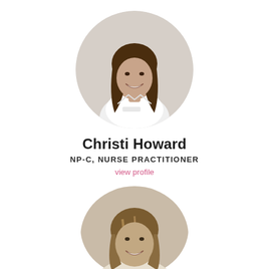[Figure (photo): Headshot photo of Christi Howard, a woman with long brown hair wearing a white medical coat, smiling, circular crop]
Christi Howard
NP-C, NURSE PRACTITIONER
view profile
[Figure (photo): Partial headshot photo of a woman with long blonde/brown highlighted hair, smiling, circular/oval crop, cut off at bottom of frame]